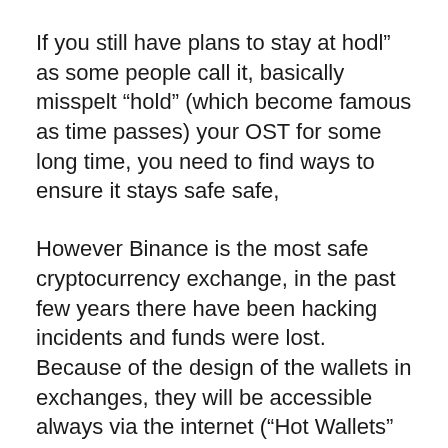If you still have plans to stay at hodl" as some people call it, basically misspelt "hold" (which become famous as time passes) your OST for some long time, you need to find ways to ensure it stays safe safe,
However Binance is the most safe cryptocurrency exchange, in the past few years there have been hacking incidents and funds were lost. Because of the design of the wallets in exchanges, they will be accessible always via the internet ("Hot Wallets" as they are called), therefore exposing certain aspects of weaknesses.
Thus safeguard your cryptos by putting them in "Cold Wallets", where the wallet will only